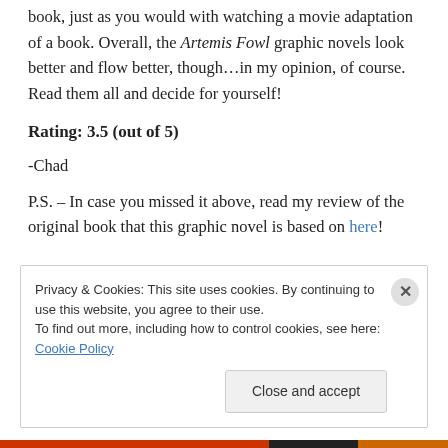book, just as you would with watching a movie adaptation of a book. Overall, the Artemis Fowl graphic novels look better and flow better, though…in my opinion, of course. Read them all and decide for yourself!
Rating: 3.5 (out of 5)
-Chad
P.S. – In case you missed it above, read my review of the original book that this graphic novel is based on here!
Privacy & Cookies: This site uses cookies. By continuing to use this website, you agree to their use.
To find out more, including how to control cookies, see here: Cookie Policy